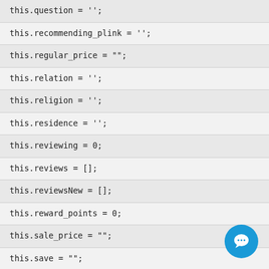this.question = '';
this.recommending_plink = '';
this.regular_price = "";
this.relation = '';
this.religion = '';
this.residence = '';
this.reviewing = 0;
this.reviews = [];
this.reviewsNew = [];
this.reward_points = 0;
this.sale_price = "";
this.save = "";
this.schoolGrade = "";
this.scidiomLastWord = "";
this.scRole = "쀀쀀";
this.sessionStart = 0;